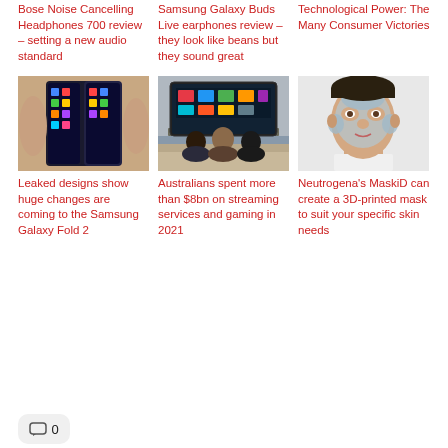Bose Noise Cancelling Headphones 700 review – setting a new audio standard
Samsung Galaxy Buds Live earphones review – they look like beans but they sound great
Technological Power: The Many Consumer Victories
[Figure (photo): Hand holding a folded Samsung Galaxy Fold smartphone showing multiple screens with colorful app icons]
[Figure (photo): People sitting on a couch watching a large smart TV displaying colorful app interface]
[Figure (photo): Woman with a facial mask or skin treatment on her face, wearing a white top]
Leaked designs show huge changes are coming to the Samsung Galaxy Fold 2
Australians spent more than $8bn on streaming services and gaming in 2021
Neutrogena's MaskiD can create a 3D-printed mask to suit your specific skin needs
0